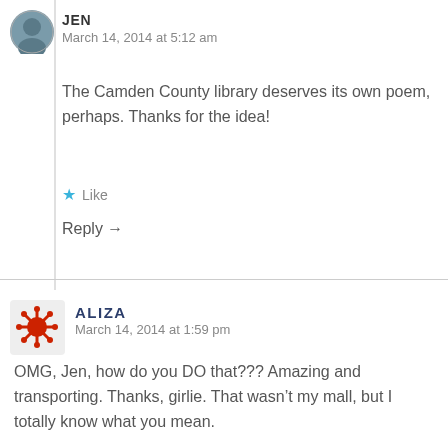JEN
March 14, 2014 at 5:12 am
The Camden County library deserves its own poem, perhaps. Thanks for the idea!
Like
Reply →
ALIZA
March 14, 2014 at 1:59 pm
OMG, Jen, how do you DO that??? Amazing and transporting. Thanks, girlie. That wasn't my mall, but I totally know what you mean.